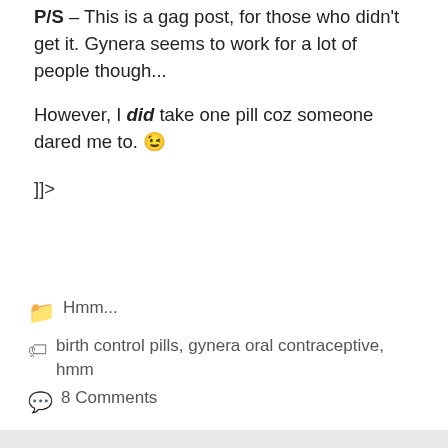P/S – This is a gag post, for those who didn't get it. Gynera seems to work for a lot of people though...
However, I did take one pill coz someone dared me to. 😉
]]>
📁 Hmm...
🏷 birth control pills, gynera oral contraceptive, hmm
💬 8 Comments